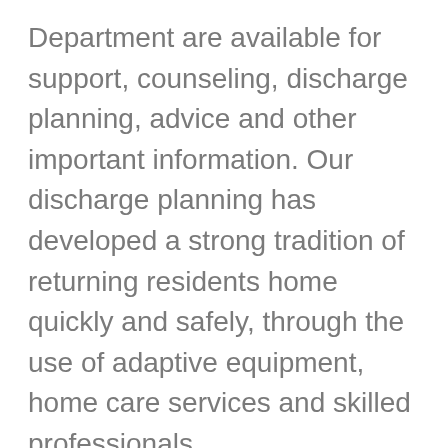Department are available for support, counseling, discharge planning, advice and other important information. Our discharge planning has developed a strong tradition of returning residents home quickly and safely, through the use of adaptive equipment, home care services and skilled professionals.
Therapeutic Recreation
Horizon Care Center's Therapeutic Recreation Department accommodates the residents requests and offers a wide range